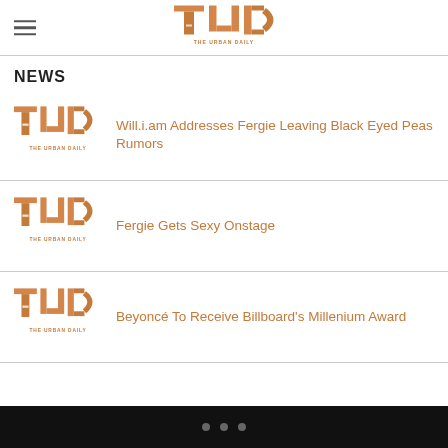TUD THE URBAN DAILY
NEWS
[Figure (logo): The Urban Daily (TUD) logo thumbnail]
Will.i.am Addresses Fergie Leaving Black Eyed Peas Rumors
[Figure (logo): The Urban Daily (TUD) logo thumbnail]
Fergie Gets Sexy Onstage
[Figure (logo): The Urban Daily (TUD) logo thumbnail]
Beyoncé To Receive Billboard's Millenium Award